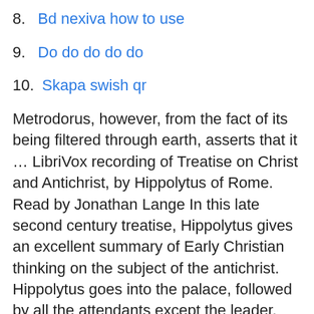8. Bd nexiva how to use
9. Do do do do do
10. Skapa swish qr
Metrodorus, however, from the fact of its being filtered through earth, asserts that it … LibriVox recording of Treatise on Christ and Antichrist, by Hippolytus of Rome. Read by Jonathan Lange In this late second century treatise, Hippolytus gives an excellent summary of Early Christian thinking on the subject of the antichrist. Hippolytus goes into the palace, followed by all the attendants except the leader, who prays before the statue of Aphrodite. Attendant Since we ought not to imitate the young, 115 with sober mind and as is fitting for a slave to speak, I will offer up my prayer to your image